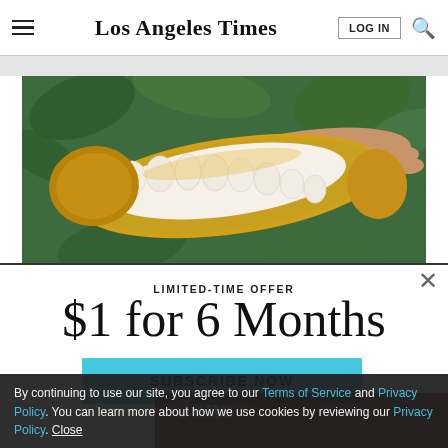Los Angeles Times
[Figure (photo): A hand holding an open cacao pod showing white cacao seeds/beans inside, surrounded by green tropical foliage]
LIMITED-TIME OFFER
$1 for 6 Months
SUBSCRIBE NOW
By continuing to use our site, you agree to our Terms of Service and Privacy Policy. You can learn more about how we use cookies by reviewing our Privacy Policy. Close